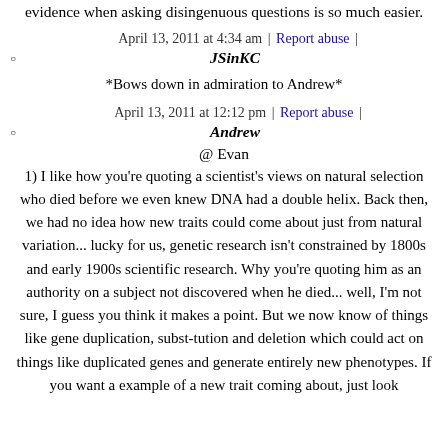evidence when asking disingenuous questions is so much easier.
April 13, 2011 at 4:34 am | Report abuse |
JSinKC
*Bows down in admiration to Andrew*
April 13, 2011 at 12:12 pm | Report abuse |
Andrew
@ Evan
1) I like how you're quoting a scientist's views on natural selection who died before we even knew DNA had a double helix. Back then, we had no idea how new traits could come about just from natural variation... lucky for us, genetic research isn't constrained by 1800s and early 1900s scientific research. Why you're quoting him as an authority on a subject not discovered when he died... well, I'm not sure, I guess you think it makes a point. But we now know of things like gene duplication, subst-tution and deletion which could act on things like duplicated genes and generate entirely new phenotypes. If you want a example of a new trait coming about, just look